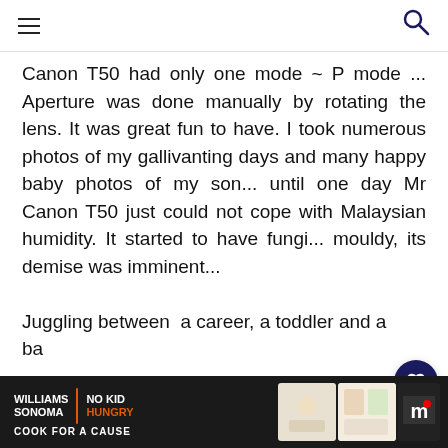Navigation bar with hamburger menu and search icon
Canon T50 had only one mode ~ P mode ... Aperture was done manually by rotating the lens. It was great fun to have. I took numerous photos of my gallivanting days and many happy baby photos of my son... until one day Mr Canon T50 just could not cope with Malaysian humidity. It started to have fungi... mouldy, its demise was imminent...
Juggling between a career, a toddler and a ba...
[Figure (screenshot): What's Next panel showing Sweetcorn Ice-Cream thumbnail]
[Figure (screenshot): Williams Sonoma No Kid Hungry Cook For A Cause advertisement banner at the bottom of the page]